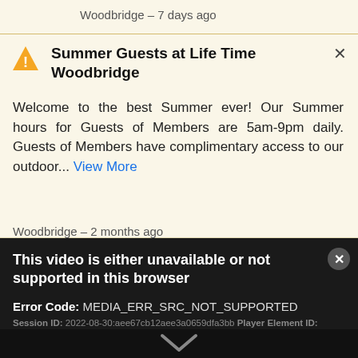Woodbridge – 7 days ago
Summer Guests at Life Time Woodbridge
Welcome to the best Summer ever! Our Summer hours for Guests of Members are 5am-9pm daily. Guests of Members have complimentary access to our outdoor... View More
Woodbridge – 2 months ago
This video is either unavailable or not supported in this browser
Error Code: MEDIA_ERR_SRC_NOT_SUPPORTED
Session ID: 2022-08-30:aee67cb12aee3a0659dfa3bb Player Element ID: bgVidCutout